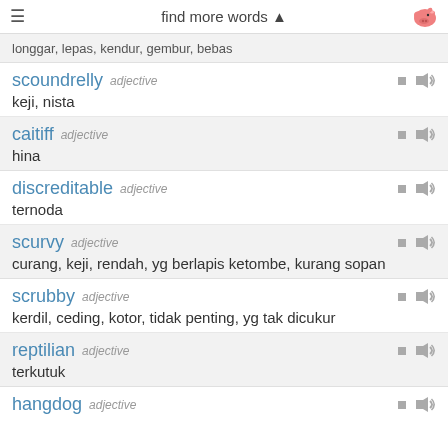find more words
longgar, lepas, kendur, gembur, bebas
scoundrelly adjective — keji, nista
caitiff adjective — hina
discreditable adjective — ternoda
scurvy adjective — curang, keji, rendah, yg berlapis ketombe, kurang sopan
scrubby adjective — kerdil, ceding, kotor, tidak penting, yg tak dicukur
reptilian adjective — terkutuk
hangdog adjective